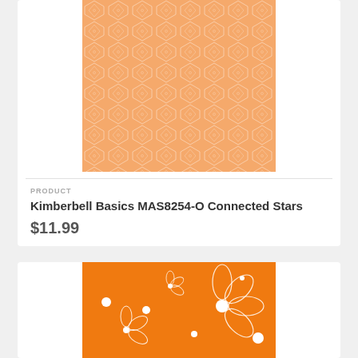[Figure (photo): Orange fabric with geometric star/hexagon connected pattern (light peach-orange background with white geometric star outlines)]
PRODUCT
Kimberbell Basics MAS8254-O Connected Stars
$11.99
[Figure (photo): Bright orange fabric with white outlined floral/flower pattern and white dot accents]